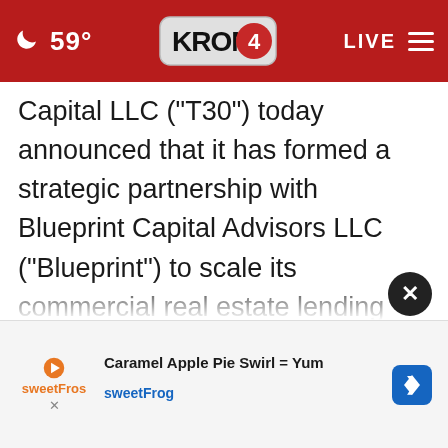59° KRON4 LIVE
Capital LLC ("T30") today announced that it has formed a strategic partnership with Blueprint Capital Advisors LLC ("Blueprint") to scale its commercial real estate lending activities and increase its social impact. Blueprint is a $1.4 billion registered investment advisor focused on fund and direct investments in alternative credit. T30 is a vertically integrated, multi-strategy institutional real estate investment and operations platform.
Caramel Apple Pie Swirl = Yum sweetFrog